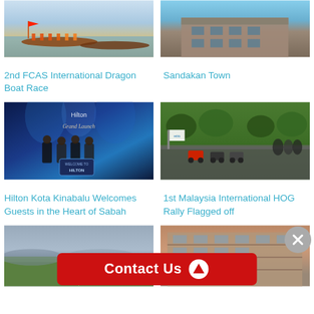[Figure (photo): Dragon boat race on water with teams paddling, flags visible]
[Figure (photo): Sandakan town building exterior with blue sky]
2nd FCAS International Dragon Boat Race
Sandakan Town
[Figure (photo): Hilton Kota Kinabalu Grand Launch event on stage with blue lighting]
[Figure (photo): 1st Malaysia International HOG Rally motorcycles flagged off, crowd watching]
Hilton Kota Kinabalu Welcomes Guests in the Heart of Sabah
1st Malaysia International HOG Rally Flagged off
[Figure (photo): Green field/stadium under overcast sky]
[Figure (photo): Building exterior with text Pullman visible]
[Figure (infographic): Red Contact Us button with arrow icon and close button]